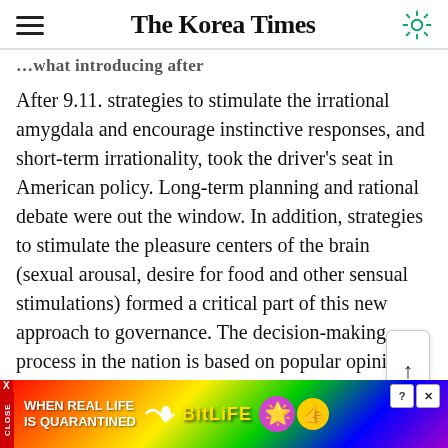The Korea Times
...what introducing after
After 9.11. strategies to stimulate the irrational amygdala and encourage instinctive responses, and short-term irrationality, took the driver's seat in American policy. Long-term planning and rational debate were out the window. In addition, strategies to stimulate the pleasure centers of the brain (sexual arousal, desire for food and other sensual stimulations) formed a critical part of this new approach to governance. The decision-making process in the nation is based on popular opinion and perceptions, not voting. And perceptions are shaped by on-line games, pornography, clips of fat cats and cafe lattes much more than by editorials.
[Figure (infographic): BitLife advertisement banner with rainbow gradient background. Text reads WHEN REAL LIFE IS QUARANTINED with BitLife logo and emoji icons. Has X/CLOSE and close buttons.]